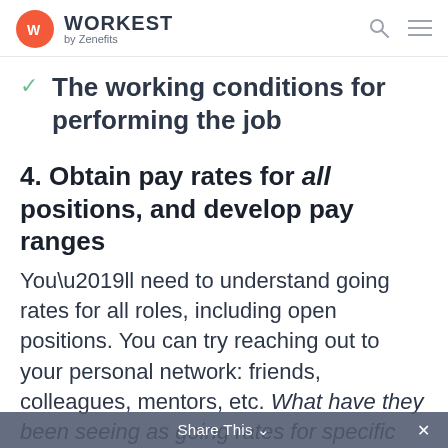WORKEST by Zenefits
The working conditions for performing the job
4. Obtain pay rates for all positions, and develop pay ranges
You’ll need to understand going rates for all roles, including open positions. You can try reaching out to your personal network: friends, colleagues, mentors, etc. What have they been seeing as going rates for specific roles? What can their experience share? This may be the quickest way to get